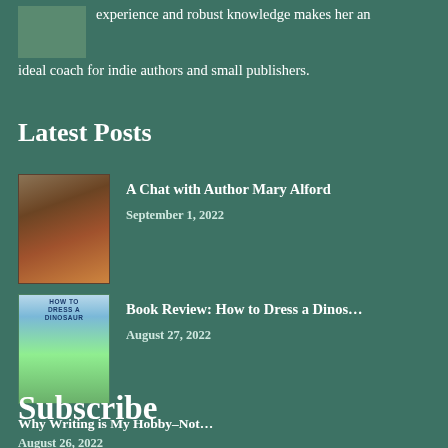experience and robust knowledge makes her an ideal coach for indie authors and small publishers.
Latest Posts
[Figure (photo): Portrait photo of Author Mary Alford - woman with long dark hair wearing red/orange top]
A Chat with Author Mary Alford
September 1, 2022
[Figure (illustration): Book cover - How to Dress a Dinosaur, showing a child and a dinosaur]
Book Review: How to Dress a Dinos...
August 27, 2022
Why Writing is My Hobby–Not...
August 26, 2022
Subscribe